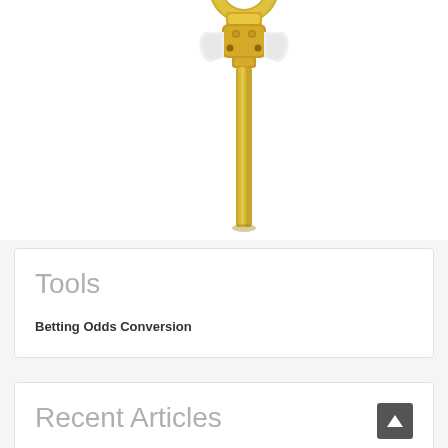[Figure (photo): A gold-colored mechanical key or precision tool with a circular ring at the top and a cylindrical rod with mechanical fittings, photographed on a white background.]
Tools
Betting Odds Conversion
Recent Articles